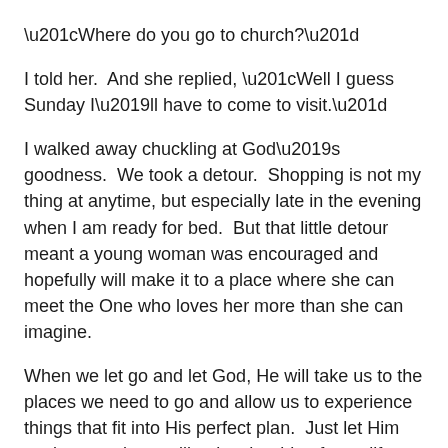“Where do you go to church?”
I told her.  And she replied, “Well I guess Sunday I’ll have to come to visit.”
I walked away chuckling at God’s goodness.  We took a detour.  Shopping is not my thing at anytime, but especially late in the evening when I am ready for bed.  But that little detour meant a young woman was encouraged and hopefully will make it to a place where she can meet the One who loves her more than she can imagine.
When we let go and let God, He will take us to the places we need to go and allow us to experience things that fit into His perfect plan.  Just let Him navigate and you will enjoy the ride of your life.